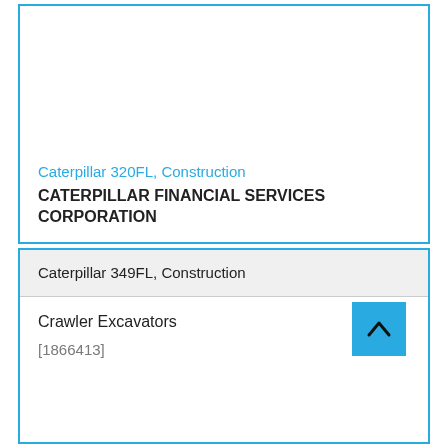Caterpillar 320FL, Construction
CATERPILLAR FINANCIAL SERVICES CORPORATION
Caterpillar 349FL, Construction
Crawler Excavators
[1866413]